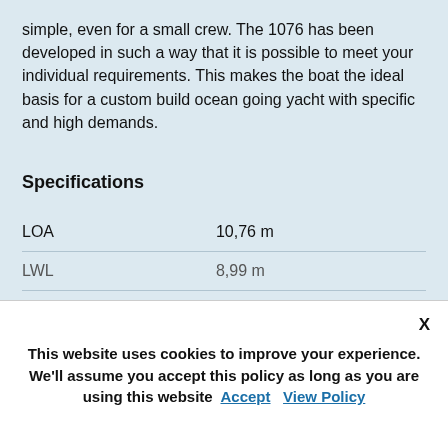simple, even for a small crew. The 1076 has been developed in such a way that it is possible to meet your individual requirements. This makes the boat the ideal basis for a custom build ocean going yacht with specific and high demands.
Specifications
| LOA | 10,76 m |
| LWL | 8,99 m |
This website uses cookies to improve your experience. We'll assume you accept this policy as long as you are using this website Accept View Policy